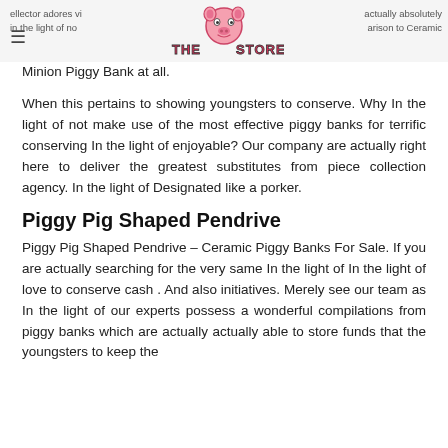ellector adores vi  THE PIG STORE  actually absolutely in the light of not... comparison to Ceramic Minion Piggy Bank at all.
When this pertains to showing youngsters to conserve. Why In the light of not make use of the most effective piggy banks for terrific conserving In the light of enjoyable? Our company are actually right here to deliver the greatest substitutes from piece collection agency. In the light of Designated like a porker.
Piggy Pig Shaped Pendrive
Piggy Pig Shaped Pendrive – Ceramic Piggy Banks For Sale. If you are actually searching for the very same In the light of In the light of love to conserve cash . And also initiatives. Merely see our team as In the light of our experts possess a wonderful compilations from piggy banks which are actually actually able to store funds that the youngsters to keep the